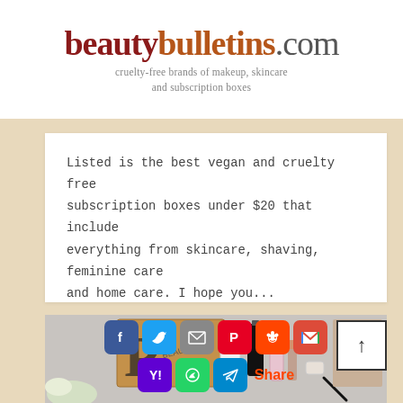beautybulletins.com — cruelty-free brands of makeup, skincare and subscription boxes
Listed is the best vegan and cruelty free subscription boxes under $20 that include everything from skincare, shaving, feminine care and home care. I hope you...
READ MORE →
[Figure (photo): Beauty subscription box with skincare products including bottles and lip products, alongside a magazine, on a white surface with flowers]
[Figure (infographic): Social share buttons: Facebook, Twitter, Email, Pinterest, Reddit, Gmail, Yahoo, WhatsApp, Telegram, and Share label]